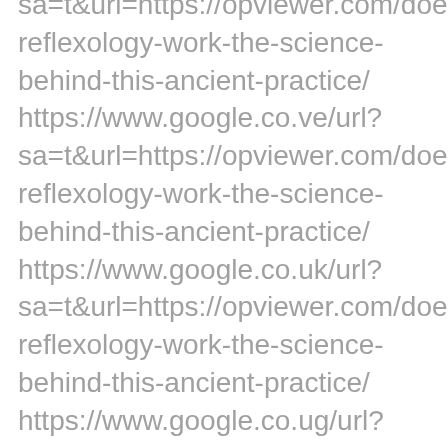sa=t&url=https://opviewer.com/does-reflexology-work-the-science-behind-this-ancient-practice/ https://www.google.co.ve/url?sa=t&url=https://opviewer.com/does-reflexology-work-the-science-behind-this-ancient-practice/ https://www.google.co.uk/url?sa=t&url=https://opviewer.com/does-reflexology-work-the-science-behind-this-ancient-practice/ https://www.google.co.ug/url?sa=t&url=https://opviewer.com/does-reflexology-work-the-science-behind-this-ancient-practice/ https://www.google.co.tz/url?sa=t&url=https://opviewer.com/does-reflexology-work-the-science-behind-